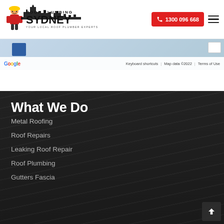[Figure (logo): Roof Plumbing Sydney logo with mascot character and text]
1300 096 668
[Figure (screenshot): Google Maps partial view with keyboard shortcuts, Map data ©2022, Terms of Use bar]
What We Do
Metal Roofing
Roof Repairs
Leaking Roof Repair
Roof Plumbing
Gutters Fascia